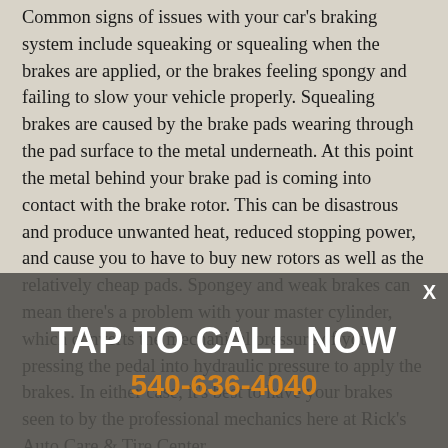Common signs of issues with your car's braking system include squeaking or squealing when the brakes are applied, or the brakes feeling spongy and failing to slow your vehicle properly. Squealing brakes are caused by the brake pads wearing through the pad surface to the metal underneath. At this point the metal behind your brake pad is coming into contact with the brake rotor. This can be disastrous and produce unwanted heat, reduced stopping power, and cause you to have to buy new rotors as well as the relatively cheap pads. Spongey and weak brakes can mean there's a problem with your master cylinder, which converts the mechanical pressure of you pressing the pedal into hydraulic pressure to apply the brakes. In either case, it's best to have your brakes seen to by the professional mechanics here at Rick's Auto Care & Tire Center.
TAP TO CALL NOW
540-636-4040